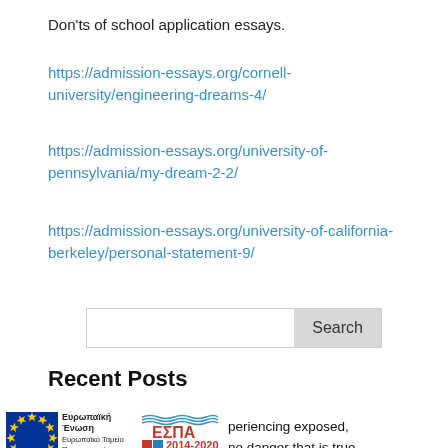Don'ts of school application essays.
https://admission-essays.org/cornell-university/engineering-dreams-4/
https://admission-essays.org/university-of-pennsylvania/my-dream-2-2/
https://admission-essays.org/university-of-california-berkeley/personal-statement-9/
Recent Posts
periencing exposed, no danger that is true.
[Figure (logo): EU flag logo with text 'Ευρωπαϊκή Ένωση' and ΕΣΠΑ 2014-2020 logo]